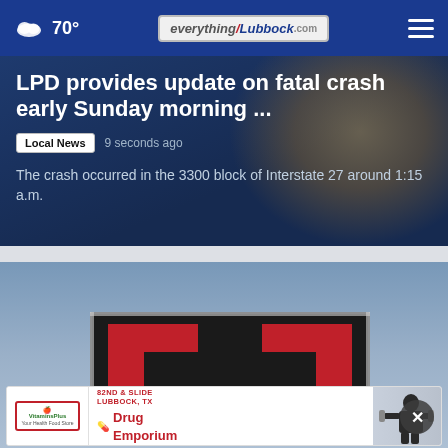☁ 70° | everything lubbock .com | ☰
LPD provides update on fatal crash early Sunday morning ...
Local News  9 seconds ago
The crash occurred in the 3300 block of Interstate 27 around 1:15 a.m.
[Figure (photo): Texas Tech University logo on building against blue sky background]
[Figure (infographic): Drug Emporium advertisement banner: VitaminsPlus Your Health Food Store | Drug Emporium | 82ND & SLIDE LUBBOCK, TX | person with dumbbells]